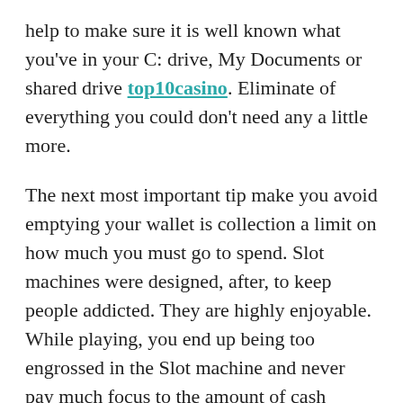help to make sure it is well known what you've in your C: drive, My Documents or shared drive top10casino. Eliminate of everything you could don't need any a little more.
The next most important tip make you avoid emptying your wallet is collection a limit on how much you must go to spend. Slot machines were designed, after, to keep people addicted. They are highly enjoyable. While playing, you end up being too engrossed in the Slot machine and never pay much focus to the amount of cash you've already spent. This really is yet huge mistake. There must be a limit on what amount you will certainly spend, long time you reach that limit, you has to have enough self-control to disappear.